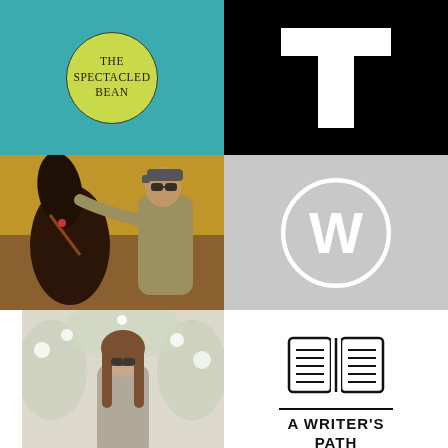[Figure (logo): The Spectacled Bean logo — teal background with yellow-green circle containing text 'THE SPECTACLED BEAN']
[Figure (logo): Large white letter T on black background]
[Figure (photo): Photo of a man in sunglasses and cap petting a brown horse, warm amber/orange toned background]
[Figure (logo): WordPress W logo (white circle with W) on light gray background]
[Figure (photo): Photo of a young woman with sunglasses standing in a flowering garden archway, faded vintage style]
[Figure (logo): Open book icon with horizontal lines representing text, above text 'A WRITER'S PATH' in bold uppercase with horizontal rules above and below]
[Figure (photo): Bottom-left partial photo, warm tan/beige tones]
[Figure (photo): Bottom-right partial photo, light green/teal tones with a circular element]